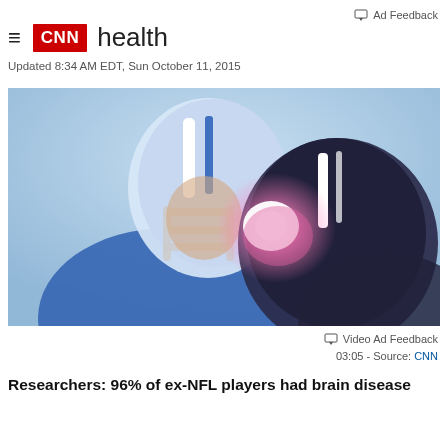Ad Feedback
≡ CNN health
Updated 8:34 AM EDT, Sun October 11, 2015
[Figure (photo): Two football players colliding helmet-to-helmet, with a light flash effect at the point of impact. Digital illustration with blue tones.]
Video Ad Feedback
03:05 - Source: CNN
Researchers: 96% of ex-NFL players had brain disease